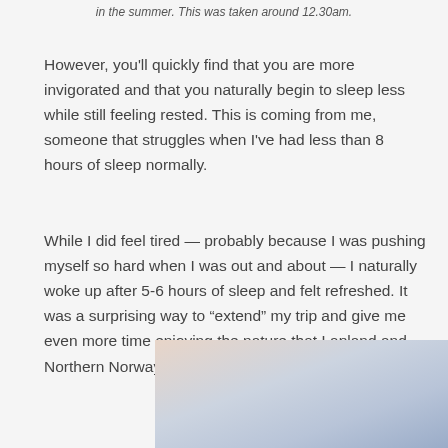in the summer. This was taken around 12.30am.
However, you'll quickly find that you are more invigorated and that you naturally begin to sleep less while still feeling rested. This is coming from me, someone that struggles when I've had less than 8 hours of sleep normally.
While I did feel tired — probably because I was pushing myself so hard when I was out and about — I naturally woke up after 5-6 hours of sleep and felt refreshed. It was a surprising way to “extend” my trip and give me even more time enjoying the nature that Lapland and Northern Norway are so famous for.
[Figure (photo): Outdoor sky/nature photograph, appears to show clouds and landscape in muted pink, blue and grey tones.]